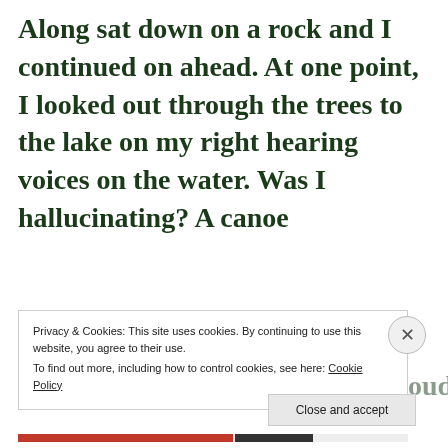Along sat down on a rock and I continued on ahead.  At one point, I looked out through the trees to the lake on my right hearing voices on the water.  Was I hallucinating?  A canoe
Privacy & Cookies: This site uses cookies. By continuing to use this website, you agree to their use.
To find out more, including how to control cookies, see here: Cookie Policy
Close and accept